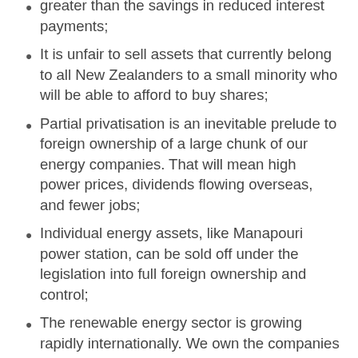greater than the savings in reduced interest payments;
It is unfair to sell assets that currently belong to all New Zealanders to a small minority who will be able to afford to buy shares;
Partial privatisation is an inevitable prelude to foreign ownership of a large chunk of our energy companies. That will mean high power prices, dividends flowing overseas, and fewer jobs;
Individual energy assets, like Manapouri power station, can be sold off under the legislation into full foreign ownership and control;
The renewable energy sector is growing rapidly internationally. We own the companies that have the critical assets they need, and the